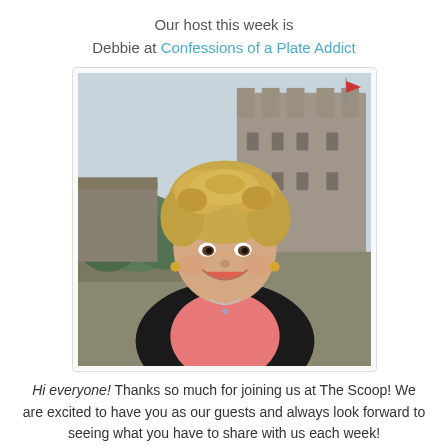Our host this week is Debbie at Confessions of a Plate Addict
[Figure (photo): Portrait photo of a smiling middle-aged woman with short curly blonde hair, wearing a black jacket over a pink shirt, standing outdoors in front of a medieval stone castle.]
Hi everyone! Thanks so much for joining us at The Scoop! We are excited to have you as our guests and always look forward to seeing what you have to share with us each week!